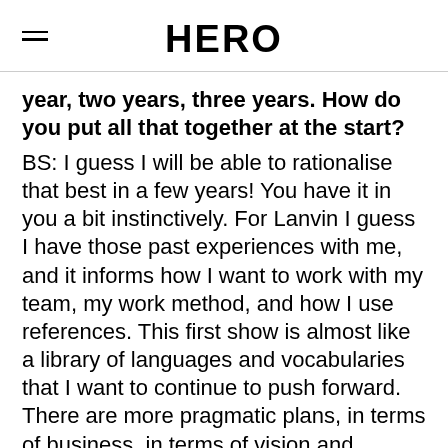HERO
year, two years, three years. How do you put all that together at the start?
BS: I guess I will be able to rationalise that best in a few years! You have it in you a bit instinctively. For Lanvin I guess I have those past experiences with me, and it informs how I want to work with my team, my work method, and how I use references. This first show is almost like a library of languages and vocabularies that I want to continue to push forward. There are more pragmatic plans, in terms of business, in terms of vision and imagery and communication, and there are obviously more abstract elements that are linked to people, to me, to my team, to the propositions that will be put on the table from